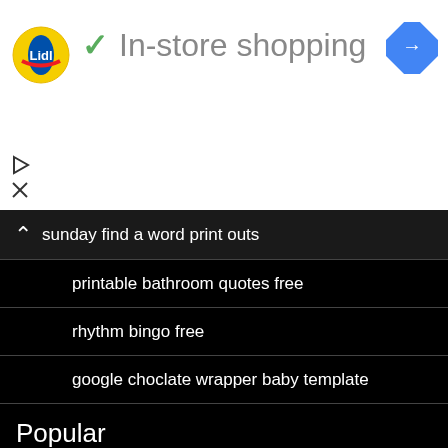[Figure (logo): Lidl logo - yellow circle with red and blue stripes and Lidl text]
✓ In-store shopping
[Figure (other): Blue diamond navigation arrow icon]
[Figure (other): Play button triangle icon]
[Figure (other): X close icon]
sunday find a word print outs
printable bathroom quotes free
rhythm bingo free
google choclate wrapper baby template
adult word ddearch
spring word search pdf
disney bingo template
willy wonka bar template
Popular